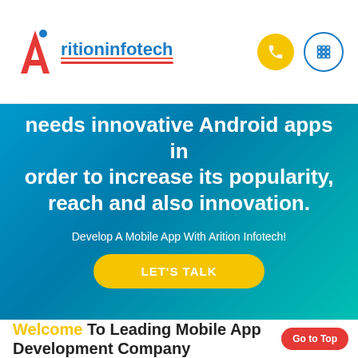[Figure (logo): Arition Infotech logo with red/orange angular A icon and blue underlined text, plus phone and grid icon buttons on the right]
needs innovative Android apps in order to increase its popularity, reach and also innovation.
Develop A Mobile App With Arition Infotech!
LET'S TALK
Welcome To Leading Mobile App Development Company
Go to Top